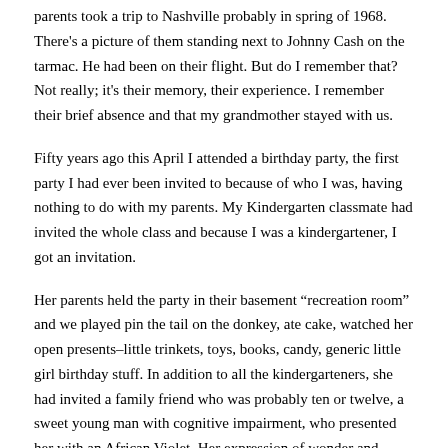parents took a trip to Nashville probably in spring of 1968. There's a picture of them standing next to Johnny Cash on the tarmac. He had been on their flight. But do I remember that? Not really; it's their memory, their experience. I remember their brief absence and that my grandmother stayed with us.
Fifty years ago this April I attended a birthday party, the first party I had ever been invited to because of who I was, having nothing to do with my parents. My Kindergarten classmate had invited the whole class and because I was a kindergartener, I got an invitation.
Her parents held the party in their basement “recreation room” and we played pin the tail on the donkey, ate cake, watched her open presents–little trinkets, toys, books, candy, generic little girl birthday stuff. In addition to all the kindergarteners, she had invited a family friend who was probably ten or twelve, a sweet young man with cognitive impairment, who presented her with an African Violet. Her expression of wonder and delight as she received his gift, alongside his expression of pure joy at having made her happy, has never left my memory.